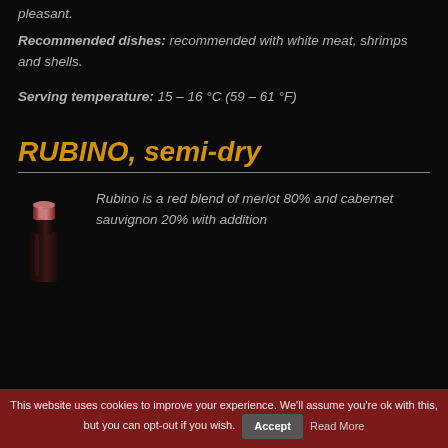pleasant.
Recommended dishes: recommended with white meat, shrimps and shells.
Serving temperature: 15 – 16 °C (59 – 61 °F)
RUBINO, semi-dry
[Figure (photo): Bottle of Rubino wine with a pink/red metallic cap]
Rubino is a red blend of merlot 80% and cabernet sauvignon 20% with addition
This website uses cookies to improve your experience. We'll assume you're ok with this, but you can opt-out if you wish. Accept Read More